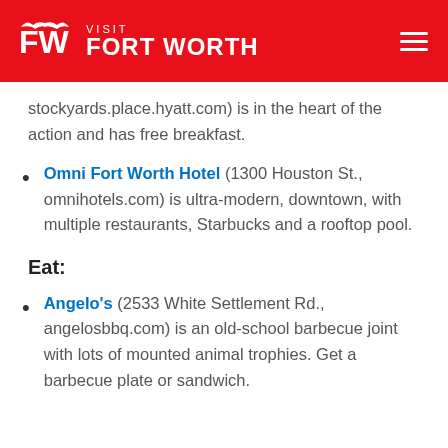VISIT FORT WORTH
stockyards.place.hyatt.com) is in the heart of the action and has free breakfast.
Omni Fort Worth Hotel (1300 Houston St., omnihotels.com) is ultra-modern, downtown, with multiple restaurants, Starbucks and a rooftop pool.
Eat:
Angelo's (2533 White Settlement Rd., angelosbbq.com) is an old-school barbecue joint with lots of mounted animal trophies. Get a barbecue plate or sandwich.